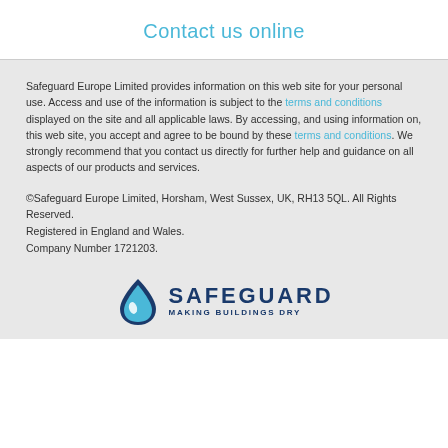Contact us online
Safeguard Europe Limited provides information on this web site for your personal use. Access and use of the information is subject to the terms and conditions displayed on the site and all applicable laws. By accessing, and using information on, this web site, you accept and agree to be bound by these terms and conditions. We strongly recommend that you contact us directly for further help and guidance on all aspects of our products and services.
©Safeguard Europe Limited, Horsham, West Sussex, UK, RH13 5QL. All Rights Reserved.
Registered in England and Wales.
Company Number 1721203.
[Figure (logo): Safeguard logo with water droplet icon and text SAFEGUARD MAKING BUILDINGS DRY in dark navy blue]